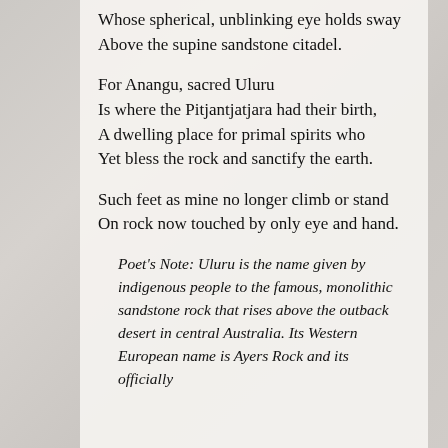Whose spherical, unblinking eye holds sway
Above the supine sandstone citadel.
For Anangu, sacred Uluru
Is where the Pitjantjatjara had their birth,
A dwelling place for primal spirits who
Yet bless the rock and sanctify the earth.
Such feet as mine no longer climb or stand
On rock now touched by only eye and hand.
Poet's Note: Uluru is the name given by indigenous people to the famous, monolithic sandstone rock that rises above the outback desert in central Australia. Its Western European name is Ayers Rock and its officially